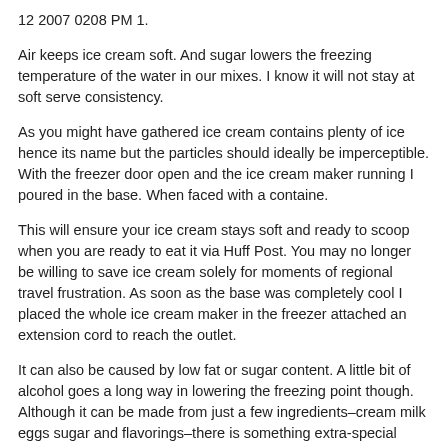12 2007 0208 PM 1.
Air keeps ice cream soft. And sugar lowers the freezing temperature of the water in our mixes. I know it will not stay at soft serve consistency.
As you might have gathered ice cream contains plenty of ice hence its name but the particles should ideally be imperceptible. With the freezer door open and the ice cream maker running I poured in the base. When faced with a containe.
This will ensure your ice cream stays soft and ready to scoop when you are ready to eat it via Huff Post. You may no longer be willing to save ice cream solely for moments of regional travel frustration. As soon as the base was completely cool I placed the whole ice cream maker in the freezer attached an extension cord to reach the outlet.
It can also be caused by low fat or sugar content. A little bit of alcohol goes a long way in lowering the freezing point though. Although it can be made from just a few ingredients–cream milk eggs sugar and flavorings–there is something extra-special about homemade ice cream.